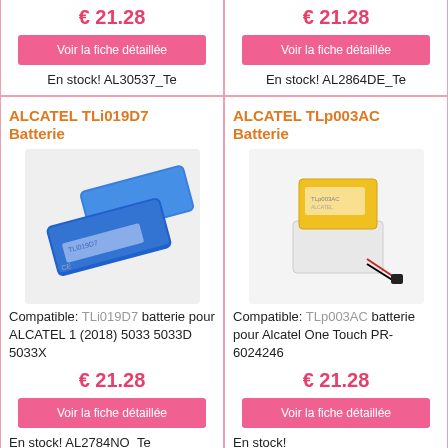€ 21.28
Voir la fiche détaillée
En stock! AL30537_Te
€ 21.28
Voir la fiche détaillée
En stock! AL2864DE_Te
ALCATEL TLi019D7 Batterie
[Figure (photo): Two blue rectangular lithium batteries for Alcatel TLi019D7]
Compatible: TLi019D7 batterie pour ALCATEL 1 (2018) 5033 5033D 5033X
€ 21.28
Voir la fiche détaillée
En stock! AL2784NO_Te
ALCATEL TLp003AC Batterie
[Figure (photo): A yellow rectangular battery with white base and wires for Alcatel TLp003AC]
Compatible: TLp003AC batterie pour Alcatel One Touch PR-6024246
€ 21.28
Voir la fiche détaillée
En stock!